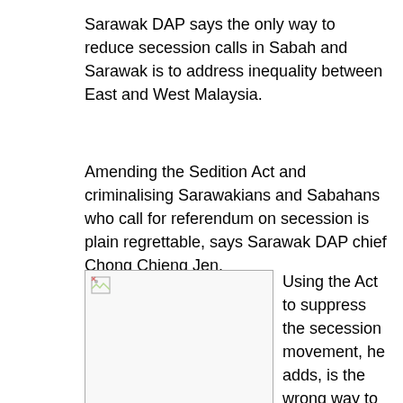Sarawak DAP says the only way to reduce secession calls in Sabah and Sarawak is to address inequality between East and West Malaysia.
Amending the Sedition Act and criminalising Sarawakians and Sabahans who call for referendum on secession is plain regrettable, says Sarawak DAP chief Chong Chieng Jen.
[Figure (photo): A broken/unloaded image placeholder]
Using the Act to suppress the secession movement, he adds, is the wrong way to do it, "because for every action, there is a reaction, and for every suppression, there is a counter action".